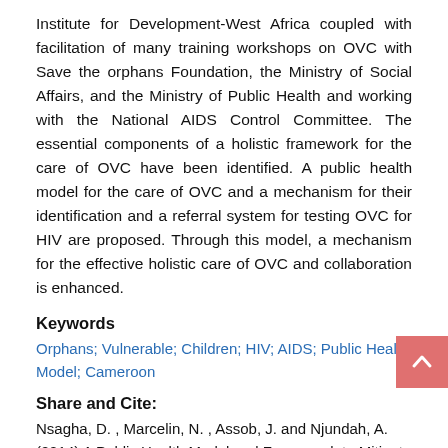Institute for Development-West Africa coupled with facilitation of many training workshops on OVC with Save the orphans Foundation, the Ministry of Social Affairs, and the Ministry of Public Health and working with the National AIDS Control Committee. The essential components of a holistic framework for the care of OVC have been identified. A public health model for the care of OVC and a mechanism for their identification and a referral system for testing OVC for HIV are proposed. Through this model, a mechanism for the effective holistic care of OVC and collaboration is enhanced.
Keywords
Orphans; Vulnerable; Children; HIV; AIDS; Public Health Model; Cameroon
Share and Cite:
Nsagha, D. , Marcelin, N. , Assob, J. and Njundah, A. (2014) A Public Health Model and Framework to Mitigate the Impact of